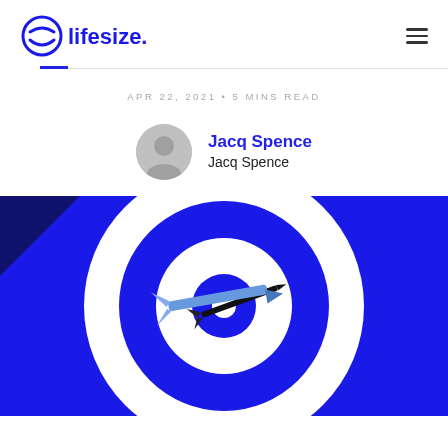lifesize
APR 22, 2021 • 5 MINS READ
Jacq Spence
Jacq Spence
[Figure (illustration): A dartboard with blue concentric circles and a dark background, with a stylized blue dart hitting near the center bullseye.]